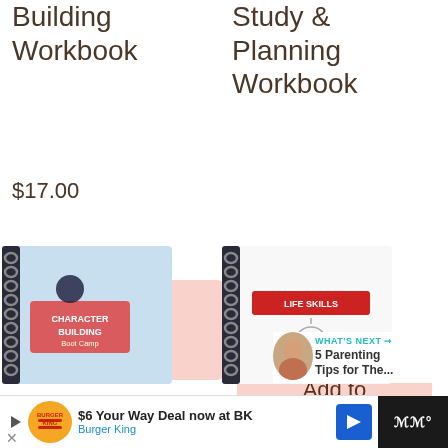Building Workbook
$17.00
Add to cart
Study & Planning Workbook
$17.00
Add to cart
1
[Figure (illustration): Character Building workbook thumbnail with spiral binding]
[Figure (illustration): Study/planning workbook thumbnail with spiral binding]
WHAT'S NEXT → 5 Parenting Tips for The...
[Figure (screenshot): Burger King ad: $6 Your Way Deal now at BK]
$6 Your Way Deal now at BK Burger King